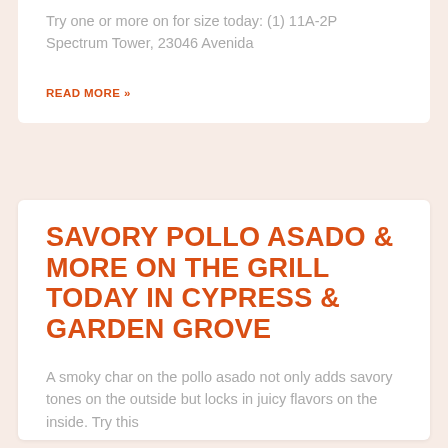Try one or more on for size today: (1) 11A-2P Spectrum Tower, 23046 Avenida
READ MORE »
SAVORY POLLO ASADO & MORE ON THE GRILL TODAY IN CYPRESS & GARDEN GROVE
A smoky char on the pollo asado not only adds savory tones on the outside but locks in juicy flavors on the inside. Try this
READ MORE »